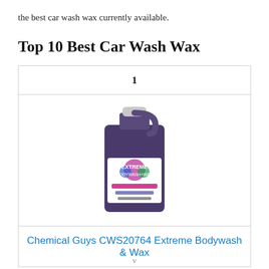the best car wash wax currently available.
Top 10 Best Car Wash Wax
[Figure (photo): A large purple jug/bottle of Chemical Guys Extreme Bodywash & Wax product with a white label featuring colorful graphics]
Chemical Guys CWS20764 Extreme Bodywash & Wax
v